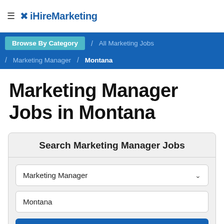≡ ✕ iHireMarketing
Browse By Category / All Marketing Jobs / Marketing Manager / Montana
Marketing Manager Jobs in Montana
Search Marketing Manager Jobs
Marketing Manager
Montana
Search